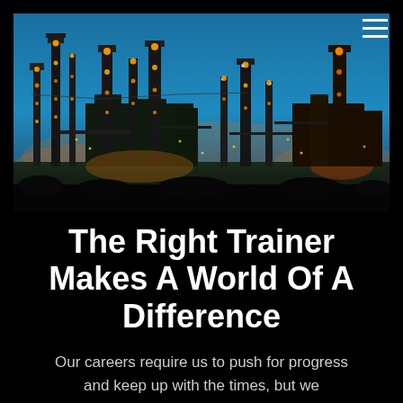[Figure (photo): Industrial refinery or chemical plant at dusk/night, with illuminated towers, pipes, and structures against a blue twilight sky.]
The Right Trainer Makes A World Of A Difference
Our careers require us to push for progress and keep up with the times, but we